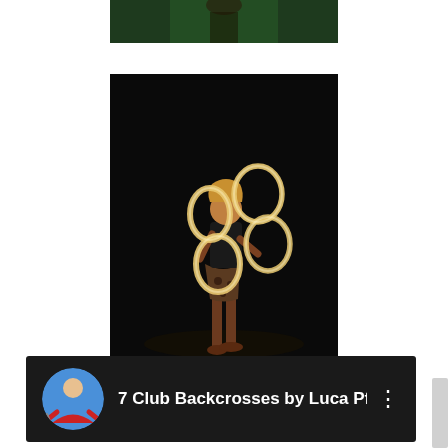[Figure (photo): Partial top image showing a TV show scene with dark green background and figures]
[Figure (photo): A performer juggling glowing rings against a black background, standing on a dark stage wearing a black outfit]
[Figure (screenshot): YouTube video card with dark background showing a circular avatar of a person in red shirt and the title '7 Club Backcrosses by Luca Pfer...' with a three-dot menu icon]